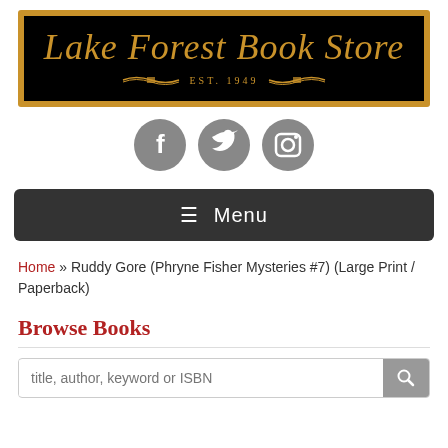[Figure (logo): Lake Forest Book Store logo — black background with gold border and serif italic text, EST. 1949 with decorative book emblem]
[Figure (infographic): Three social media icons: Facebook, Twitter, Instagram — grey circular buttons]
≡ Menu
Home » Ruddy Gore (Phryne Fisher Mysteries #7) (Large Print / Paperback)
Browse Books
title, author, keyword or ISBN